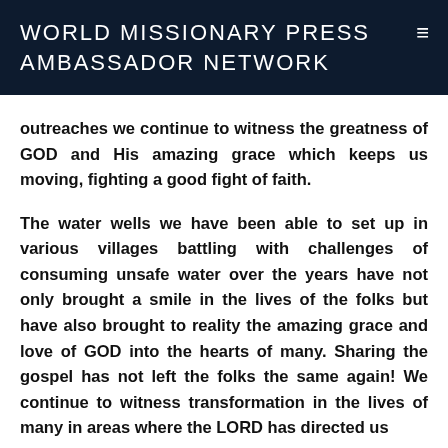WORLD MISSIONARY PRESS AMBASSADOR NETWORK
outreaches we continue to witness the greatness of GOD and His amazing grace which keeps us moving, fighting a good fight of faith.
The water wells we have been able to set up in various villages battling with challenges of consuming unsafe water over the years have not only brought a smile in the lives of the folks but have also brought to reality the amazing grace and love of GOD into the hearts of many. Sharing the gospel has not left the folks the same again! We continue to witness transformation in the lives of many in areas where the LORD has directed us...